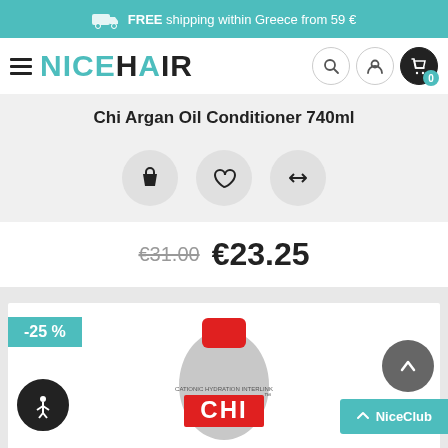FREE shipping within Greece from 59 €
[Figure (logo): NiceHair logo with hamburger menu and navigation icons (search, user, cart with badge 0)]
Chi Argan Oil Conditioner 740ml
[Figure (infographic): Three circular action buttons: shopping bag icon, heart/wishlist icon, compare arrows icon]
€31.00 €23.25
[Figure (photo): CHI product bottle with -25% discount badge]